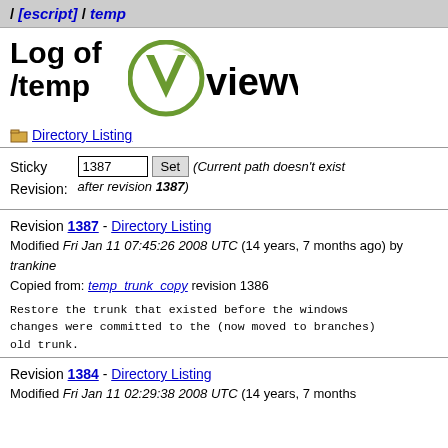/ [escript] / temp
Log of /temp
[Figure (logo): ViewVC logo with stylized V in green circle and 'viewvc' text in bold black]
Directory Listing
| Sticky Revision: |  |  |
| --- | --- | --- |
| Sticky Revision: | 1387  Set | (Current path doesn't exist after revision 1387) |
Revision 1387 - Directory Listing
Modified Fri Jan 11 07:45:26 2008 UTC (14 years, 7 months ago) by trankine
Copied from: temp_trunk_copy revision 1386
Restore the trunk that existed before the windows changes were committed to the (now moved to branches) old trunk.
Revision 1384 - Directory Listing
Modified Fri Jan 11 02:29:38 2008 UTC (14 years, 7 months